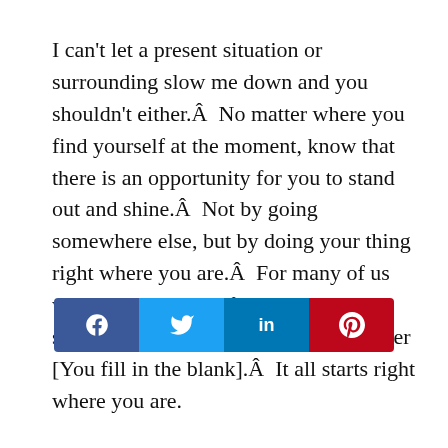I can't let a present situation or surrounding slow me down and you shouldn't either.Â  No matter where you find yourself at the moment, know that there is an opportunity for you to stand out and shine.Â  Not by going somewhere else, but by doing your thing right where you are.Â  For many of us we may be wishing for a better job situation, a better home situation a better [You fill in the blank].Â  It all starts right where you are.
The book Linchpin by my man Seth Godin (he's not actually my man, but I look forward to connecting with him one day) hits the point very well.Â  There is a part where he talks about a young lady who is motivated at w...s motivated she is getting noticed and getting opportunities to
[Figure (infographic): Social share bar with four buttons: Facebook (blue), Twitter (light blue), LinkedIn (dark blue), Pinterest (red), each with their respective icons.]